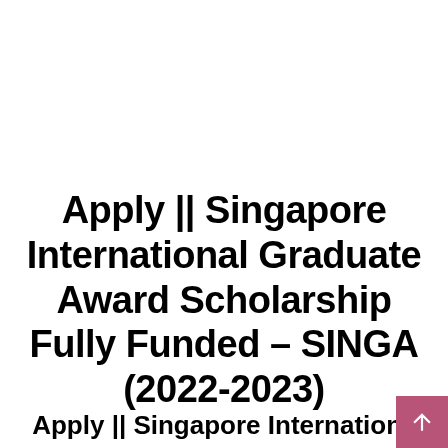Apply || Singapore International Graduate Award Scholarship Fully Funded – SINGA (2022-2023)
Apply || Singapore International